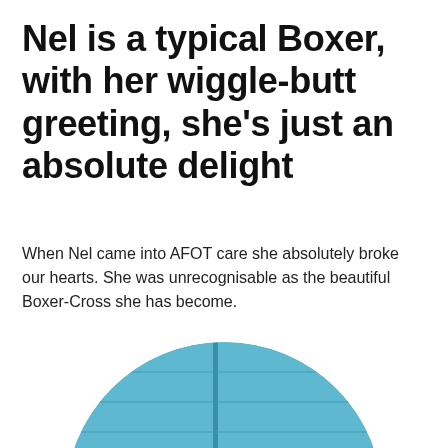Nel is a typical Boxer, with her wiggle-butt greeting, she's just an absolute delight
When Nel came into AFOT care she absolutely broke our hearts. She was unrecognisable as the beautiful Boxer-Cross she has become.
[Figure (photo): Circular cropped photo of a Boxer dog in front of blue painted wooden fence/boards. The dog's head is visible at the bottom of the circle.]